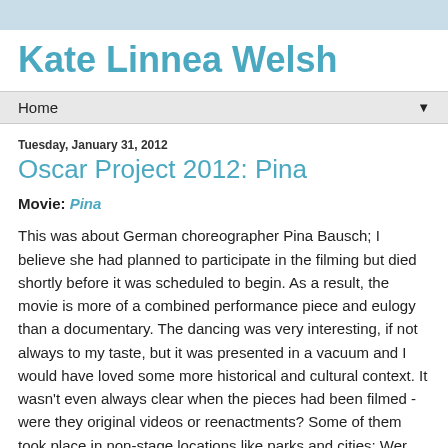Kate Linnea Welsh
Home ▼
Tuesday, January 31, 2012
Oscar Project 2012: Pina
Movie: Pina
This was about German choreographer Pina Bausch; I believe she had planned to participate in the filming but died shortly before it was scheduled to begin. As a result, the movie is more of a combined performance piece and eulogy than a documentary. The dancing was very interesting, if not always to my taste, but it was presented in a vacuum and I would have loved some more historical and cultural context. It wasn't even always clear when the pieces had been filmed - were they original videos or reenactments? Some of them took place in non-stage locations like parks and cities; Wer...